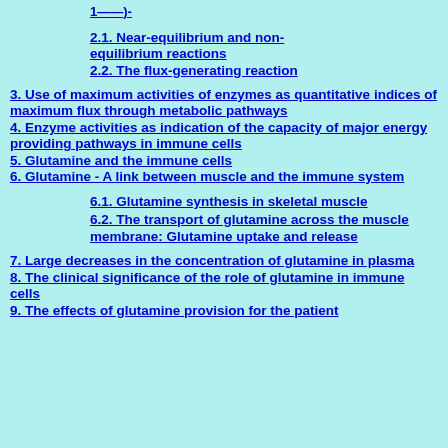2.1. Near-equilibrium and non-equilibrium reactions
2.2. The flux-generating reaction
3. Use of maximum activities of enzymes as quantitative indices of maximum flux through metabolic pathways
4. Enzyme activities as indication of the capacity of major energy providing pathways in immune cells
5. Glutamine and the immune cells
6. Glutamine - A link between muscle and the immune system
6.1. Glutamine synthesis in skeletal muscle
6.2. The transport of glutamine across the muscle membrane: Glutamine uptake and release
7. Large decreases in the concentration of glutamine in plasma
8. The clinical significance of the role of glutamine in immune cells
9. The effects of glutamine provision for the patient